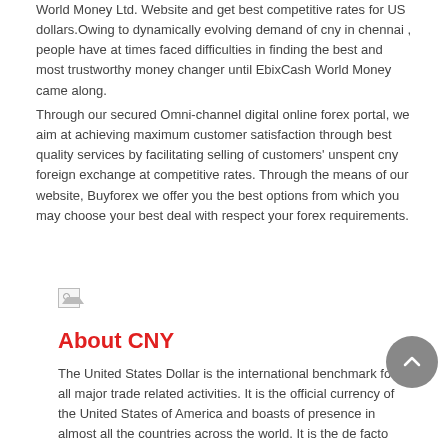World Money Ltd. Website and get best competitive rates for US dollars.Owing to dynamically evolving demand of cny in chennai , people have at times faced difficulties in finding the best and most trustworthy money changer until EbixCash World Money came along.
Through our secured Omni-channel digital online forex portal, we aim at achieving maximum customer satisfaction through best quality services by facilitating selling of customers' unspent cny foreign exchange at competitive rates. Through the means of our website, Buyforex we offer you the best options from which you may choose your best deal with respect your forex requirements.
[Figure (other): Broken image placeholder icon]
About CNY
The United States Dollar is the international benchmark for all major trade related activities. It is the official currency of the United States of America and boasts of presence in almost all the countries across the world. It is the de facto currency of the majority of the nations in the world.The trade relation and implication of the cny against INR is most crucial to be analysed. Any product or service that is listed internationally requires that it